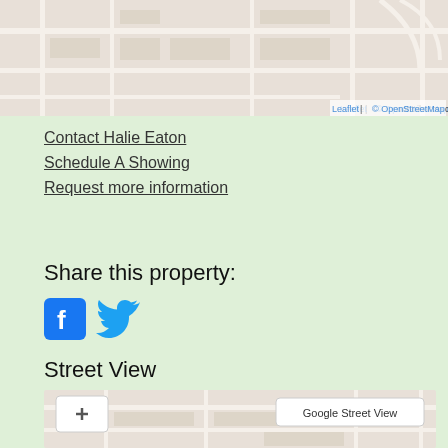[Figure (map): Top portion of a street map (OpenStreetMap/Leaflet) showing city streets in beige/cream tones with a Leaflet | © OpenStreetMap contributors attribution in the bottom right corner.]
Contact Halie Eaton
Schedule A Showing
Request more information
Share this property:
[Figure (other): Facebook and Twitter social media share icons in blue.]
Street View
[Figure (map): Bottom portion of a street map showing city streets with zoom in (+), zoom out (-), and fullscreen controls on the left side, and a 'Google Street View' button in the upper right corner.]